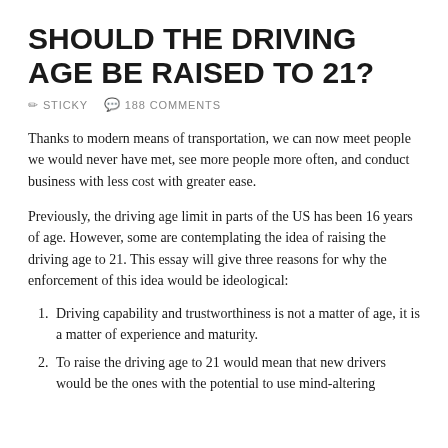SHOULD THE DRIVING AGE BE RAISED TO 21?
✏ STICKY  💬 188 COMMENTS
Thanks to modern means of transportation, we can now meet people we would never have met, see more people more often, and conduct business with less cost with greater ease.
Previously, the driving age limit in parts of the US has been 16 years of age. However, some are contemplating the idea of raising the driving age to 21. This essay will give three reasons for why the enforcement of this idea would be ideological:
Driving capability and trustworthiness is not a matter of age, it is a matter of experience and maturity.
To raise the driving age to 21 would mean that new drivers would be the ones with the potential to use mind-altering